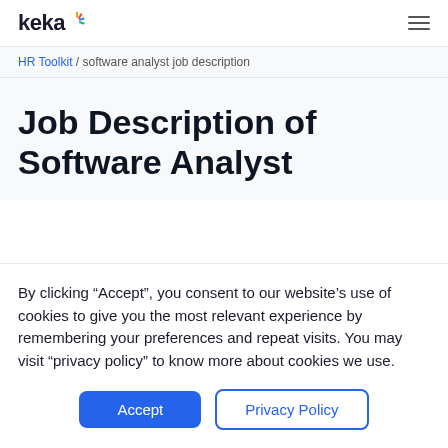keka
HR Toolkit / software analyst job description
Job Description of Software Analyst
By clicking “Accept”, you consent to our website’s use of cookies to give you the most relevant experience by remembering your preferences and repeat visits. You may visit “privacy policy” to know more about cookies we use.
Accept | Privacy Policy